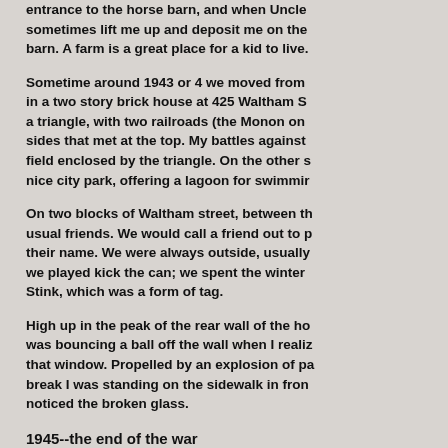entrance to the horse barn, and when Uncle sometimes lift me up and deposit me on the barn. A farm is a great place for a kid to live.
Sometime around 1943 or 4 we moved from in a two story brick house at 425 Waltham S a triangle, with two railroads (the Monon on sides that met at the top. My battles against field enclosed by the triangle. On the other s nice city park, offering a lagoon for swimmir
On two blocks of Waltham street, between th usual friends. We would call a friend out to p their name. We were always outside, usually we played kick the can; we spent the winter Stink, which was a form of tag.
High up in the peak of the rear wall of the ho was bouncing a ball off the wall when I realiz that window. Propelled by an explosion of pa break I was standing on the sidewalk in fron noticed the broken glass.
1945--the end of the war
I was ten years old when the war ended. In n